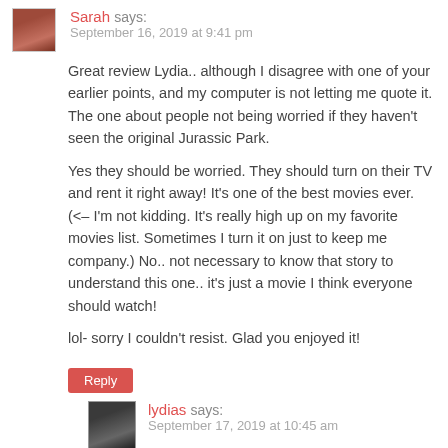Sarah says: September 16, 2019 at 9:41 pm
Great review Lydia.. although I disagree with one of your earlier points, and my computer is not letting me quote it. The one about people not being worried if they haven't seen the original Jurassic Park.
Yes they should be worried. They should turn on their TV and rent it right away! It's one of the best movies ever. (<– I'm not kidding. It's really high up on my favorite movies list. Sometimes I turn it on just to keep me company.) No.. not necessary to know that story to understand this one.. it's just a movie I think everyone should watch!
lol- sorry I couldn't resist. Glad you enjoyed it!
Reply
lydias says: September 17, 2019 at 10:45 am